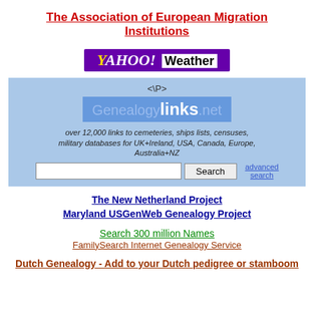The Association of European Migration Institutions
[Figure (logo): Yahoo! Weather logo banner with purple background]
[Figure (screenshot): GenealogyLinks.net search widget on light blue background with search input and button]
The New Netherland Project
Maryland USGenWeb Genealogy Project
Search 300 million Names
FamilySearch Internet Genealogy Service
Dutch Genealogy - Add to your Dutch pedigree or stamboom